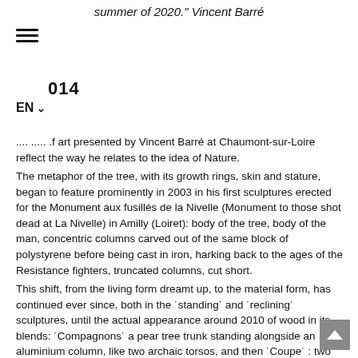summer of 2020." Vincent Barré
014
EN
.... ..... .f art presented by Vincent Barré at Chaumont-sur-Loire reflect the way he relates to the idea of Nature.
The metaphor of the tree, with its growth rings, skin and stature, began to feature prominently in 2003 in his first sculptures erected for the Monument aux fusillés de la Nivelle (Monument to those shot dead at La Nivelle) in Amilly (Loiret): body of the tree, body of the man, concentric columns carved out of the same block of polystyrene before being cast in iron, harking back to the ages of the Resistance fighters, truncated columns, cut short.
This shift, from the living form dreamt up, to the material form, has continued ever since, both in the ˙standing˙ and ˙reclining˙ sculptures, until the actual appearance around 2010 of wood in its blends: ˙Compagnons˙ a pear tree trunk standing alongside an aluminium column, like two archaic torsos, and then ˙Coupe˙ : two strong twin columns with alternating wood and metal.
In the Historic Grounds, on the hillside, Vincent Barré has laid out a cast iron sculpture in 6 parts, through which we can see the surrounding landscape, ever changing, always fragmented and framed by the rings when we move or rest a moment between the